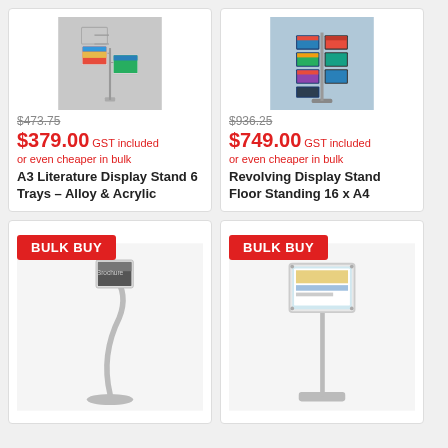[Figure (photo): A3 Literature Display Stand with 6 trays, alloy and acrylic construction, silver color, holding brochures/magazines at multiple angles]
$473.75
$379.00 GST included or even cheaper in bulk
A3 Literature Display Stand 6 Trays - Alloy & Acrylic
[Figure (photo): Revolving Display Stand, floor standing, holds 16 x A4 sized literature, rotating tower with multiple pockets, black and silver]
$936.25
$749.00 GST included or even cheaper in bulk
Revolving Display Stand Floor Standing 16 x A4
[Figure (photo): Floor standing display stand with single curved pole, holding a brochure/magazine at the top, silver metal construction, with BULK BUY badge]
[Figure (photo): Floor standing display stand with straight pole holding an A4 frame/sign, silver/chrome, with BULK BUY badge]